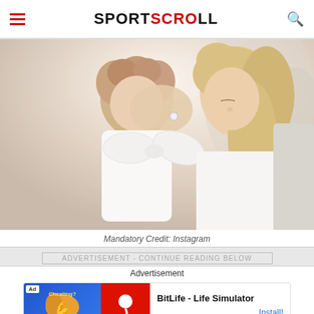SPORTSCROLL
[Figure (photo): A woman in a wedding dress holding a young child dressed in white with a large bow, leaning close to hug the child.]
Mandatory Credit: Instagram
ADVERTISEMENT - CONTINUE READING BELOW
Advertisement
[Figure (other): BitLife - Life Simulator advertisement banner with Install button]